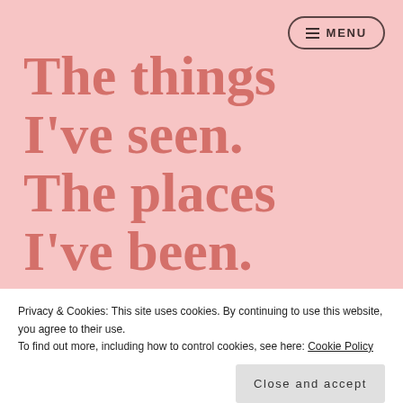≡ MENU
The things I've seen. The places I've been.
Privacy & Cookies: This site uses cookies. By continuing to use this website, you agree to their use.
To find out more, including how to control cookies, see here: Cookie Policy
Close and accept
awesome!